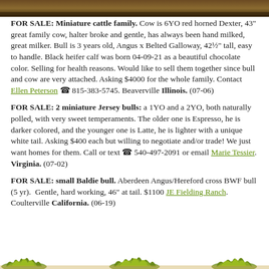[Figure (photo): Partial top photo strip showing cattle/farm scene, cropped]
FOR SALE: Miniature cattle family. Cow is 6YO red horned Dexter, 43" great family cow, halter broke and gentle, has always been hand milked, great milker. Bull is 3 years old, Angus x Belted Galloway, 42½" tall, easy to handle. Black heifer calf was born 04-09-21 as a beautiful chocolate color. Selling for health reasons. Would like to sell them together since bull and cow are very attached. Asking $4000 for the whole family. Contact Ellen Peterson ☎ 815-383-5745. Beaverville Illinois. (07-06)
FOR SALE: 2 miniature Jersey bulls: a 1YO and a 2YO, both naturally polled, with very sweet temperaments. The older one is Espresso, he is darker colored, and the younger one is Latte, he is lighter with a unique white tail. Asking $400 each but willing to negotiate and/or trade! We just want homes for them. Call or text ☎ 540-497-2091 or email Marie Tessier. Virginia. (07-02)
FOR SALE: small Baldie bull. Aberdeen Angus/Hereford cross BWF bull (5 yr). Gentle, hard working, 46" at tail. $1100 JE Fielding Ranch. Coulterville California. (06-19)
[Figure (illustration): Decorative bottom border showing stylized green grass/plant tufts in three groups]